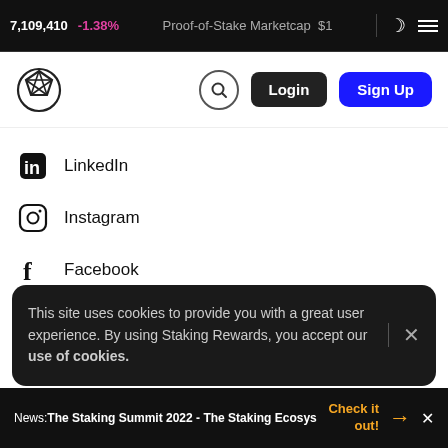7,109,410  -1.38%  Proof-of-Stake Marketcap  $1
[Figure (logo): Staking Rewards logo - geometric globe icon]
LinkedIn
Instagram
Facebook
Discord
Substack
This site uses cookies to provide you with a great user experience. By using Staking Rewards, you accept our use of cookies.
News: The Staking Summit 2022 - The Staking Ecosys   Check it out!